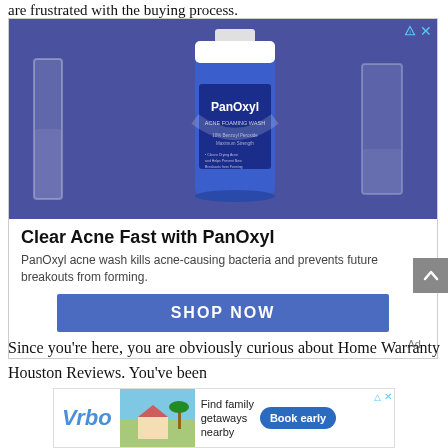are frustrated with the buying process.
[Figure (photo): Advertisement for PanOxyl Acne Foaming Wash. Shows a PanOxyl product tube against a blue background with lab glassware. Headline: Clear Acne Fast with PanOxyl. Body: PanOxyl acne wash kills acne-causing bacteria and prevents future breakouts from forming. Button: SHOP NOW. Ad label at bottom right.]
Since you're here, you are obviously curious about Home Warranty Houston Reviews. You've been
[Figure (photo): Vrbo advertisement banner. Shows Vrbo logo, vacation house photo, text 'Find family getaways nearby', and 'Book early' button.]